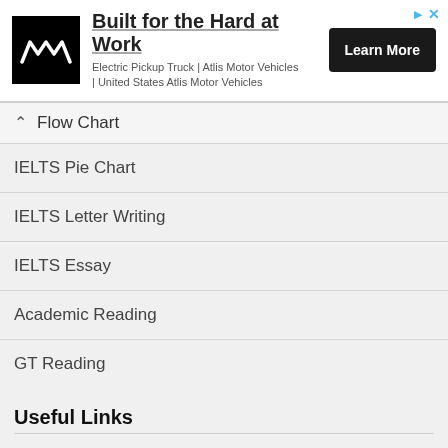[Figure (other): Advertisement banner for Atlis Motor Vehicles electric pickup truck with logo, headline 'Built for the Hard at Work', subtitle text, and 'Learn More' button]
Flow Chart
IELTS Pie Chart
IELTS Letter Writing
IELTS Essay
Academic Reading
GT Reading
Useful Links
Know IELTS
CB IELTS
IELTS Secrets